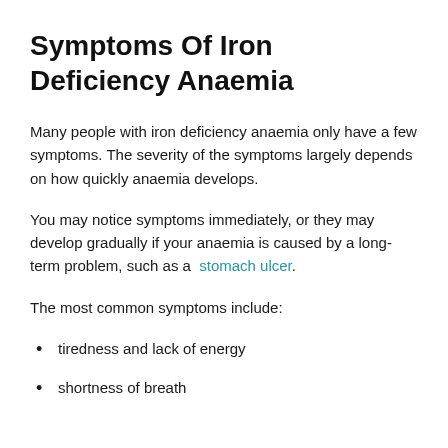Symptoms Of Iron Deficiency Anaemia
Many people with iron deficiency anaemia only have a few symptoms. The severity of the symptoms largely depends on how quickly anaemia develops.
You may notice symptoms immediately, or they may develop gradually if your anaemia is caused by a long-term problem, such as a stomach ulcer.
The most common symptoms include:
tiredness and lack of energy
shortness of breath